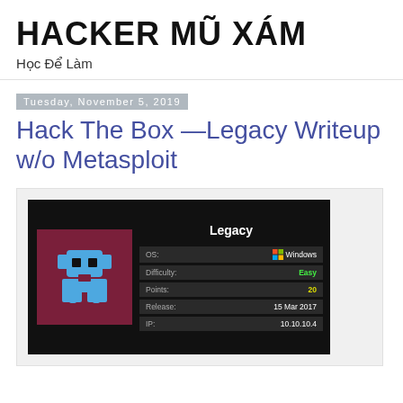HACKER MŨ XÁM
Học Để Làm
Tuesday, November 5, 2019
Hack The Box —Legacy Writeup w/o Metasploit
[Figure (screenshot): Screenshot of Hack The Box Legacy machine info panel showing OS: Windows, Difficulty: Easy, Points: 20, Release: 15 Mar 2017, IP: 10.10.10.4]